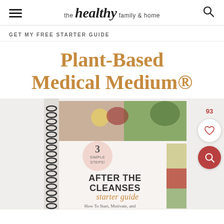the healthy family & home
GET MY FREE STARTER GUIDE
Plant-Based Medical Medium®
[Figure (photo): A spiral-bound book titled 'After The Cleanses Starter Guide — 3 Simple Steps! How To Start, Motivate, and...' with food photos on the cover including pomegranate, lemon, greens, and vegetables. Beside the book are a heart/like button showing 93 likes and a red search button.]